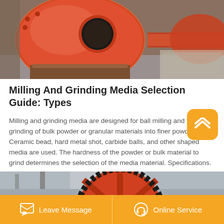[Figure (photo): Orange ball mill drum with circular opening, industrial machinery in a factory setting]
Milling And Grinding Media Selection Guide: Types
Milling and grinding media are designed for ball milling and the grinding of bulk powder or granular materials into finer powder forms. Ceramic bead, hard metal shot, carbide balls, and other shaped media are used. The hardness of the powder or bulk material to grind determines the selection of the media material. Specifications.
[Figure (photo): Industrial ball mill with large red gear wheel/sprocket in a factory, ceiling and machinery visible]
Leave Message   Online Service